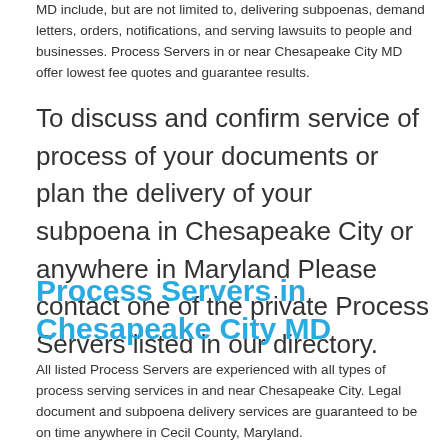MD include, but are not limited to, delivering subpoenas, demand letters, orders, notifications, and serving lawsuits to people and businesses. Process Servers in or near Chesapeake City MD offer lowest fee quotes and guarantee results.
To discuss and confirm service of process of your documents or plan the delivery of your subpoena in Chesapeake City or anywhere in Maryland Please contact one of the private Process Servers listed in our directory.
Process Servers in Chesapeake City MD
All listed Process Servers are experienced with all types of process serving services in and near Chesapeake City. Legal document and subpoena delivery services are guaranteed to be on time anywhere in Cecil County, Maryland.